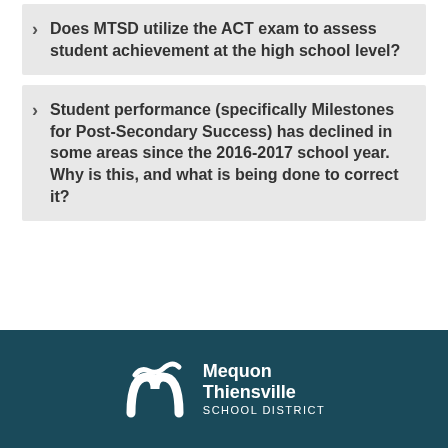Does MTSD utilize the ACT exam to assess student achievement at the high school level?
Student performance (specifically Milestones for Post-Secondary Success) has declined in some areas since the 2016-2017 school year. Why is this, and what is being done to correct it?
[Figure (logo): Mequon Thiensville School District logo — white M-shaped icon with 'Mequon Thiensville SCHOOL DISTRICT' text in white on dark teal background]